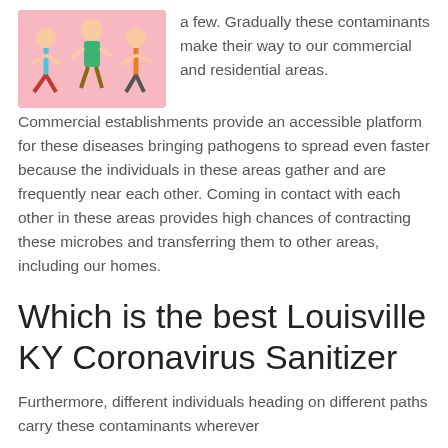[Figure (illustration): Cartoon illustration of children playing on a pink background]
a few. Gradually these contaminants make their way to our commercial and residential areas. Commercial establishments provide an accessible platform for these diseases bringing pathogens to spread even faster because the individuals in these areas gather and are frequently near each other. Coming in contact with each other in these areas provides high chances of contracting these microbes and transferring them to other areas, including our homes.
Which is the best Louisville KY Coronavirus Sanitizer
Furthermore, different individuals heading on different paths carry these contaminants wherever